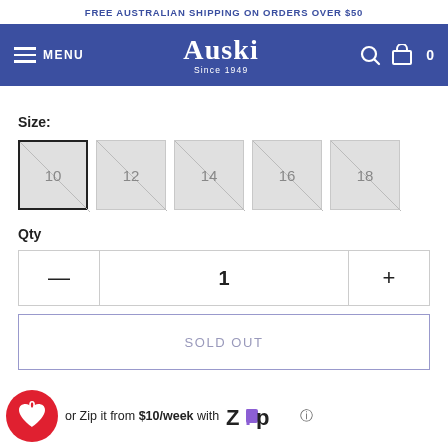FREE AUSTRALIAN SHIPPING ON ORDERS OVER $50
Auski Since 1949 — MENU — Search — Cart 0
Size:
Size options: 10 (selected), 12, 14, 16, 18
Qty
1
SOLD OUT
or Zip it from $10/week with Zip ℹ